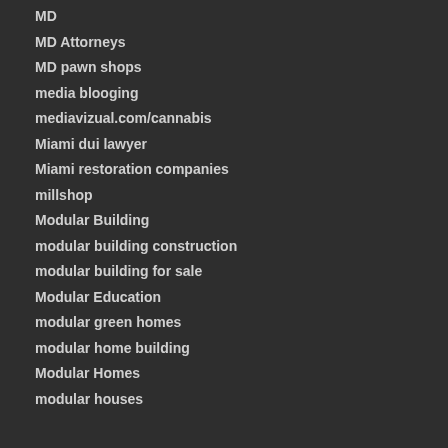MD
MD Attorneys
MD pawn shops
media blooging
mediavizual.com/cannabis
Miami dui lawyer
Miami restoration companies
millshop
Modular Building
modular building construction
modular building for sale
Modular Education
modular green homes
modular home building
Modular Homes
modular houses